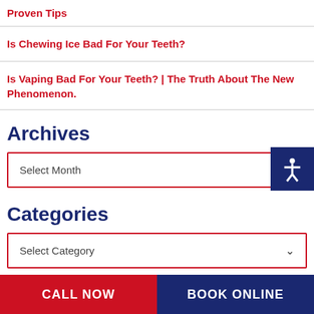Proven Tips
Is Chewing Ice Bad For Your Teeth?
Is Vaping Bad For Your Teeth? | The Truth About The New Phenomenon.
Archives
Select Month
Categories
Select Category
CALL NOW   BOOK ONLINE